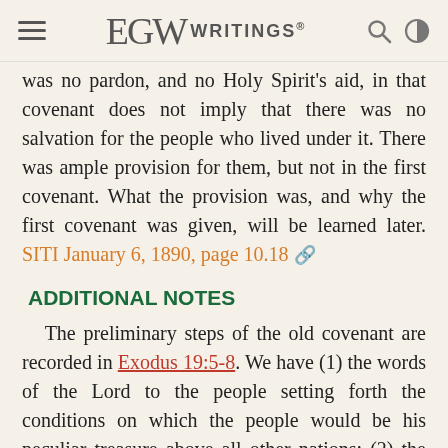EGW WRITINGS®
was no pardon, and no Holy Spirit's aid, in that covenant does not imply that there was no salvation for the people who lived under it. There was ample provision for them, but not in the first covenant. What the provision was, and why the first covenant was given, will be learned later. SITI January 6, 1890, page 10.18
ADDITIONAL NOTES
The preliminary steps of the old covenant are recorded in Exodus 19:5-8. We have (1) the words of the Lord to the people setting forth the conditions on which the people would be his peculiar treasure above all other nations; (2) the conditions, obedience to God's voice, or covenant; and (3) the promise of the people that they would do this. The